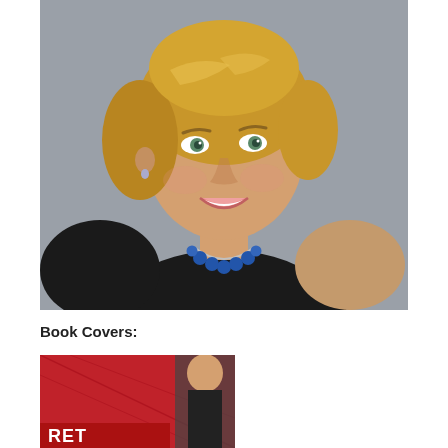[Figure (photo): Professional headshot of a woman with short blonde bob hair, wearing a black sleeveless top and a blue beaded necklace, smiling, against a gray background.]
Book Covers:
[Figure (photo): Partial view of a book cover with red background and a figure, text partially visible showing letters that appear to be part of a title.]